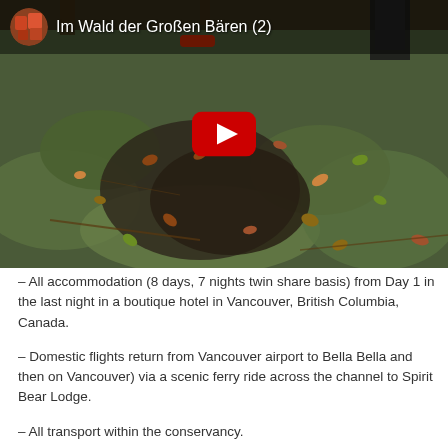[Figure (screenshot): YouTube video thumbnail showing a forest floor with moss and fallen leaves. Video title: 'Im Wald der Großen Bären (2)'. A YouTube play button (red rounded rectangle with white triangle) is centered on the image. Top-left shows a circular avatar/channel icon.]
– All accommodation (8 days, 7 nights twin share basis) from Day 1 in the last night in a boutique hotel in Vancouver, British Columbia, Canada.
– Domestic flights return from Vancouver airport to Bella Bella and then on Vancouver) via a scenic ferry ride across the channel to Spirit Bear Lodge.
– All transport within the conservancy.